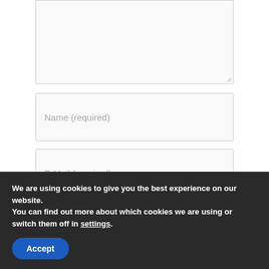[Figure (screenshot): Textarea input box (partially visible, top of page)]
Name (required)
E-Mail (required)
Website
By using this form you agree with the
We are using cookies to give you the best experience on our website.
You can find out more about which cookies we are using or switch them off in settings.
Accept